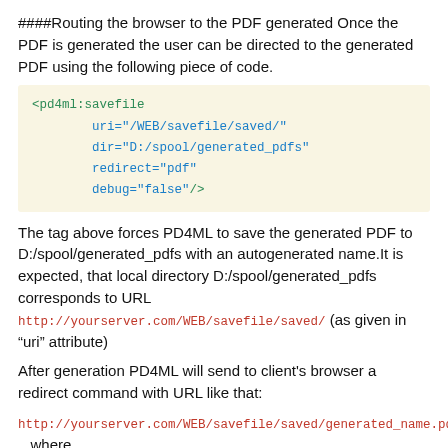####Routing the browser to the PDF generated Once the PDF is generated the user can be directed to the generated PDF using the following piece of code.
<pd4ml:savefile uri="/WEB/savefile/saved/" dir="D:/spool/generated_pdfs" redirect="pdf" debug="false"/>
The tag above forces PD4ML to save the generated PDF to D:/spool/generated_pdfs with an autogenerated name.It is expected, that local directory D:/spool/generated_pdfs corresponds to URL http://yourserver.com/WEB/savefile/saved/ (as given in “uri” attribute)
After generation PD4ML will send to client's browser a redirect command with URL like that:
http://yourserver.com/WEB/savefile/saved/generated_name.pd ...where